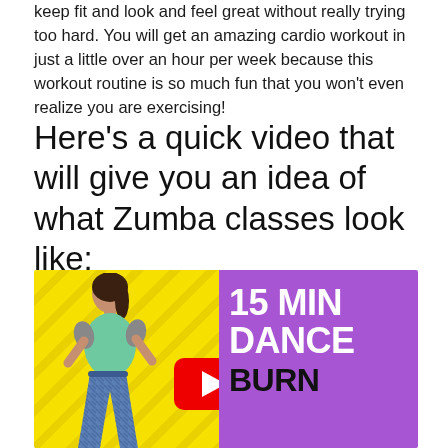keep fit and look and feel great without really trying too hard. You will get an amazing cardio workout in just a little over an hour per week because this workout routine is so much fun that you won't even realize you are exercising!
Here's a quick video that will give you an idea of what Zumba classes look like:
[Figure (screenshot): YouTube video thumbnail showing a dancing woman figure on a yellow diagonal-stripe background on the left, and purple background on the right with white bold text '15 MIN DANCE' and black bold text 'BURN CALORIES'. A red YouTube play button is overlaid in the center.]